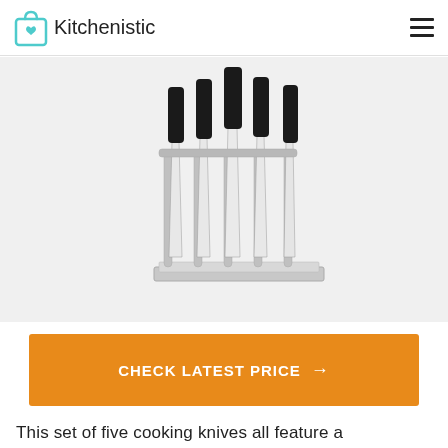Kitchenistic
[Figure (photo): A set of five cooking knives with black Santoprene handles displayed in a stainless steel knife block holder on a light gray background.]
CHECK LATEST PRICE →
This set of five cooking knives all feature a Santoprene handle, which is ergonomically designed. It is